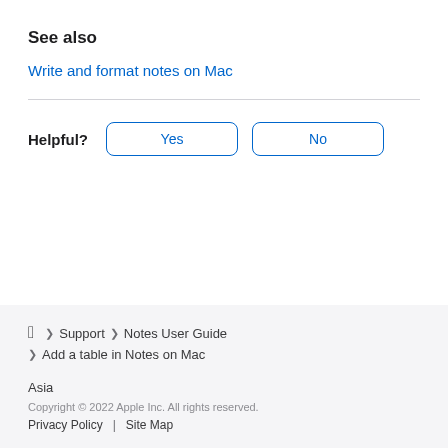See also
Write and format notes on Mac
Helpful? Yes No
Apple > Support > Notes User Guide > Add a table in Notes on Mac
Asia
Copyright © 2022 Apple Inc. All rights reserved.
Privacy Policy | Site Map